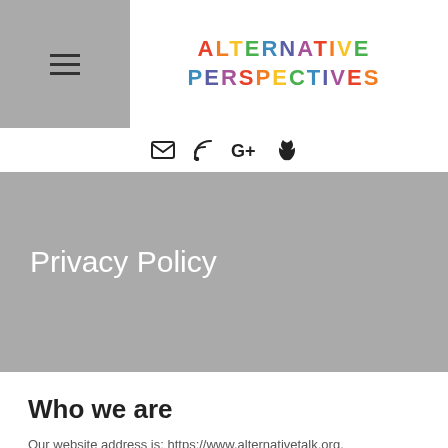ALTERNATIVE PERSPECTIVES
[Figure (logo): Hamburger menu icon on gray background on the left; colorful rainbow-lettered logo text 'ALTERNATIVE PERSPECTIVES' on the right]
[Figure (infographic): Row of social/contact icons: envelope, RSS feed, Google+, Apple]
Privacy Policy
Who we are
Our website address is: https://www.alternativetalk.org.